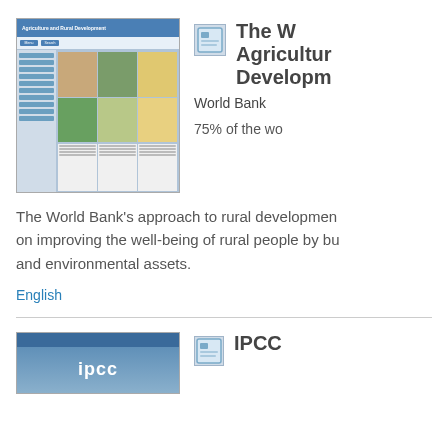[Figure (screenshot): Screenshot of World Bank Agriculture and Rural Development website]
The World Bank Agriculture and Rural Development
World Bank
75% of the wo
The World Bank's approach to rural development on improving the well-being of rural people by bu and environmental assets.
English
[Figure (screenshot): Screenshot of IPCC website]
IPCC